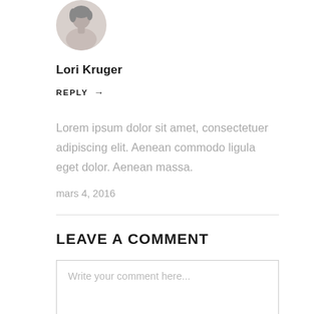[Figure (photo): Circular avatar photo of a person (Lori Kruger), showing head and shoulders against a light background.]
Lori Kruger
REPLY →
Lorem ipsum dolor sit amet, consectetuer adipiscing elit. Aenean commodo ligula eget dolor. Aenean massa.
mars 4, 2016
LEAVE A COMMENT
Write your comment here...